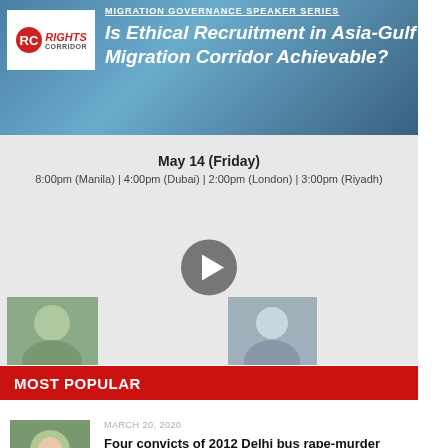[Figure (screenshot): Banner for Migration Governance Speaker Series with Rights Corridor logo and event title 'Is Ethical Recruitment in Asia-Gulf Migration Corridor Achievable?']
May 14 (Friday)
8:00pm (Manila) | 4:00pm (Dubai) | 2:00pm (London) | 3:00pm (Riyadh)
[Figure (photo): Video thumbnail with play button overlay, two speaker thumbnails below]
MOST POPULAR
[Figure (photo): Thumbnail of a woman in blue]
MARCH 20, 2020
Four convicts of 2012 Delhi bus rape-murder hanged 7 years after the incident
[Figure (photo): Thumbnail of a woman smiling]
JANUARY 8, 2020
Indian court issues death warrant for Delhi bus rape convicts